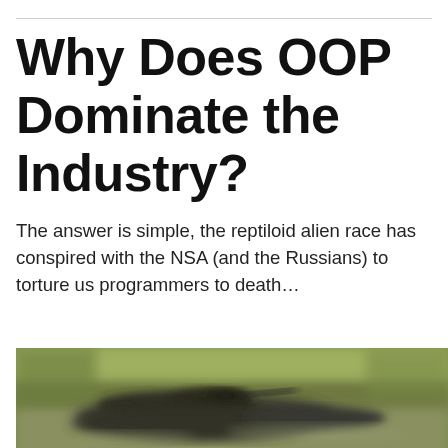Why Does OOP Dominate the Industry?
The answer is simple, the reptiloid alien race has conspired with the NSA (and the Russians) to torture us programmers to death…
[Figure (photo): A blurry photograph of what appears to be a military vehicle or tank on water or wet ground, with green and brown tones, heavily blurred/low resolution.]